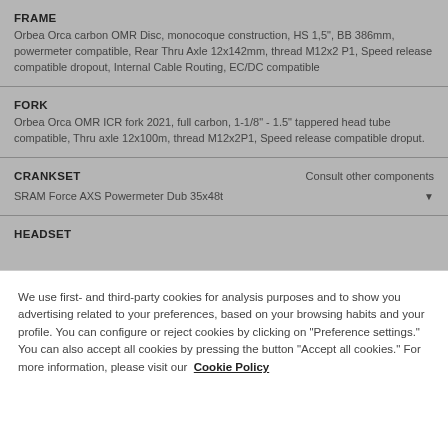FRAME
Orbea Orca carbon OMR Disc, monocoque construction, HS 1,5", BB 386mm, powermeter compatible, Rear Thru Axle 12x142mm, thread M12x2 P1, Speed release compatible dropout, Internal Cable Routing, EC/DC compatible
FORK
Orbea Orca OMR ICR fork 2021, full carbon, 1-1/8" - 1.5" tappered head tube compatible, Thru axle 12x100m, thread M12x2P1, Speed release compatible droput.
CRANKSET
Consult other components
SRAM Force AXS Powermeter Dub 35x48t
HEADSET
We use first- and third-party cookies for analysis purposes and to show you advertising related to your preferences, based on your browsing habits and your profile. You can configure or reject cookies by clicking on "Preference settings." You can also accept all cookies by pressing the button "Accept all cookies." For more information, please visit our Cookie Policy